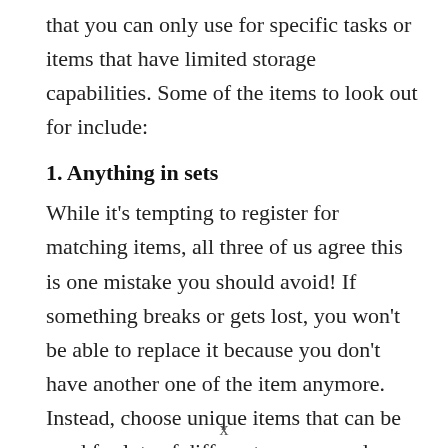that you can only use for specific tasks or items that have limited storage capabilities. Some of the items to look out for include:
1. Anything in sets
While it's tempting to register for matching items, all three of us agree this is one mistake you should avoid! If something breaks or gets lost, you won't be able to replace it because you don't have another one of the item anymore. Instead, choose unique items that can be used for lots of different reasons and aren't easily matched like a classic blue tooth speaker, stainless steel food storage containers, or a cast iron pan!
x